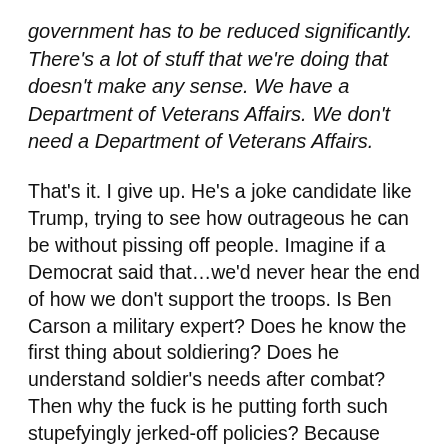government has to be reduced significantly. There's a lot of stuff that we're doing that doesn't make any sense. We have a Department of Veterans Affairs. We don't need a Department of Veterans Affairs.
That's it. I give up. He's a joke candidate like Trump, trying to see how outrageous he can be without pissing off people. Imagine if a Democrat said that…we'd never hear the end of how we don't support the troops. Is Ben Carson a military expert? Does he know the first thing about soldiering? Does he understand soldier's needs after combat? Then why the fuck is he putting forth such stupefyingly jerked-off policies? Because he's an idiot, and a dangerous one, just like the rest of them. Carson's just out there being brain-dead more often. Of all the things to cut…of all the things…I'd have wound up having permanent residence in an asylum if the VA hadn't saved